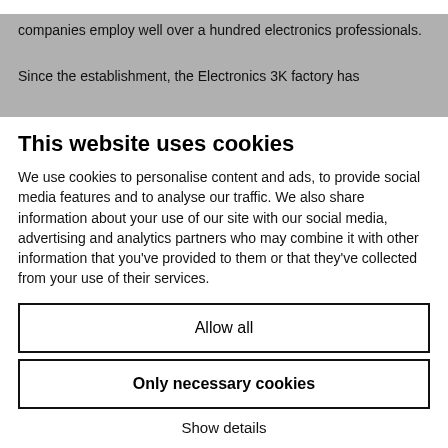companies employ well over a hundred electronics professionals.
Since the establishment, the Electronics 3K factory has
This website uses cookies
We use cookies to personalise content and ads, to provide social media features and to analyse our traffic. We also share information about your use of our site with our social media, advertising and analytics partners who may combine it with other information that you've provided to them or that they've collected from your use of their services.
Allow all
Only necessary cookies
Show details